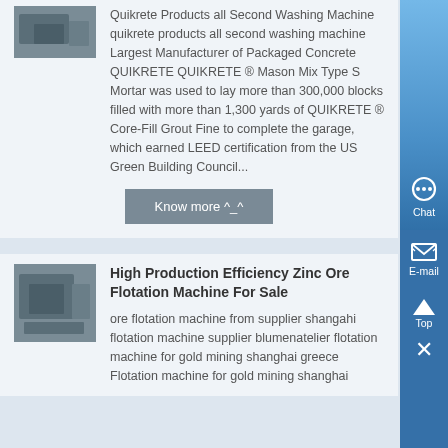Quikrete Products all Second Washing Machine quikrete products all second washing machine Largest Manufacturer of Packaged Concrete QUIKRETE QUIKRETE ® Mason Mix Type S Mortar was used to lay more than 300,000 blocks filled with more than 1,300 yards of QUIKRETE ® Core-Fill Grout Fine to complete the garage, which earned LEED certification from the US Green Building Council...
Know more ^_^
High Production Efficiency Zinc Ore Flotation Machine For Sale
ore flotation machine from supplier shangahi flotation machine supplier blumenatelier flotation machine for gold mining shanghai greece Flotation machine for gold mining shanghai